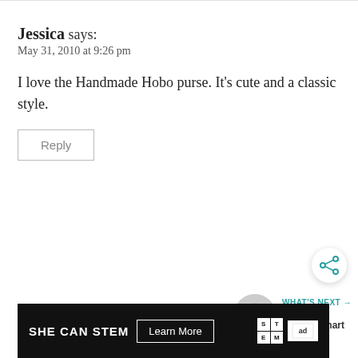Jessica says:
May 31, 2010 at 9:26 pm
I love the Handmade Hobo purse. It's cute and a classic style.
Reply
[Figure (infographic): Share button (circular icon with share symbol)]
WHAT'S NEXT → Printable Reward Chart
Tara says:
May 31, 2010 at 10:58 pm
[Figure (screenshot): SHE CAN STEM advertisement banner with Learn More button, STEM logo, and Ad Council logo]